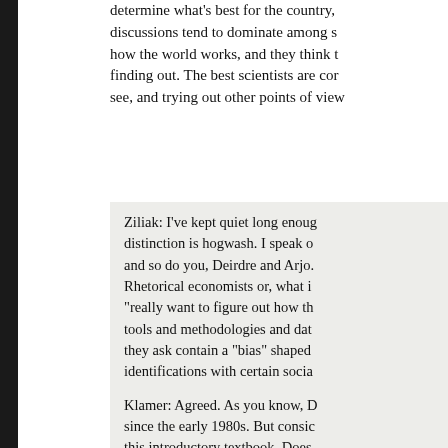determine what's best for the country, discussions tend to dominate among s how the world works, and they think t finding out. The best scientists are cor see, and trying out other points of view
Ziliak: I've kept quiet long enough. distinction is hogwash. I speak o and so do you, Deirdre and Arjo. Rhetorical economists or, what i "really want to figure out how th tools and methodologies and dat they ask contain a "bias" shaped identifications with certain socia
Klamer: Agreed. As you know, D since the early 1980s. But consid this introductory textbook. Does distinction persuade them?
Ziliak: That depends on which p Some, such as the liberals Rober radicals Steve Cullenberg and Ja Smith and Milton Friedman, and